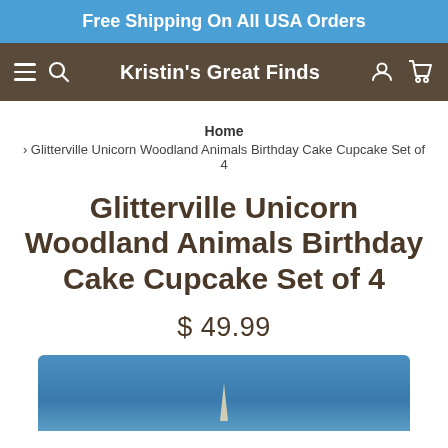Free Shipping On All USA Orders
Kristin's Great Finds
Home
> Glitterville Unicorn Woodland Animals Birthday Cake Cupcake Set of 4
Glitterville Unicorn Woodland Animals Birthday Cake Cupcake Set of 4
$ 49.99
[Figure (photo): Partial product image showing a blue teal background with the bottom of a decorative item visible at the bottom edge]